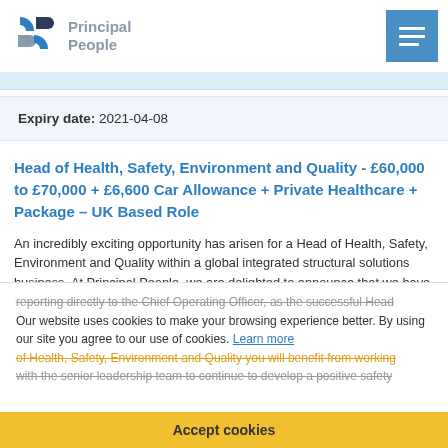Principal People
Expiry date: 2021-04-08
Head of Health, Safety, Environment and Quality - £60,000 to £70,000 + £6,600 Car Allowance + Private Healthcare + Package – UK Based Role
An incredibly exciting opportunity has arisen for a Head of Health, Safety, Environment and Quality within a global integrated structural solutions business. At Principal People, we are delighted to announce that we have been retained to search for a new Head of HSEQ. reporting directly to the Chief Operating Officer, as the successful Head of Health, Safety, Environment and Quality you will benefit from working with the senior leadership team to continue to develop a positive safety
Our website uses cookies to make your browsing experience better. By using our site you agree to our use of cookies. Learn more
Accept cookies